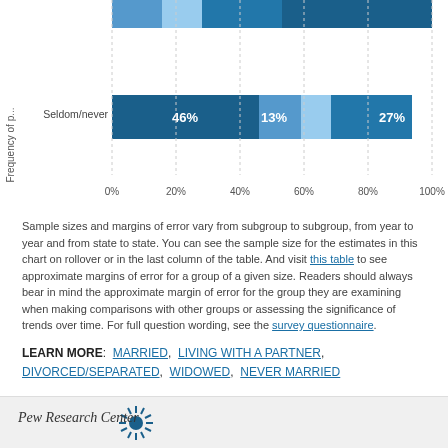[Figure (stacked-bar-chart): Frequency of prayer - Seldom/never]
Sample sizes and margins of error vary from subgroup to subgroup, from year to year and from state to state. You can see the sample size for the estimates in this chart on rollover or in the last column of the table. And visit this table to see approximate margins of error for a group of a given size. Readers should always bear in mind the approximate margin of error for the group they are examining when making comparisons with other groups or assessing the significance of trends over time. For full question wording, see the survey questionnaire.
LEARN MORE: MARRIED, LIVING WITH A PARTNER, DIVORCED/SEPARATED, WIDOWED, NEVER MARRIED
Pew Research Center